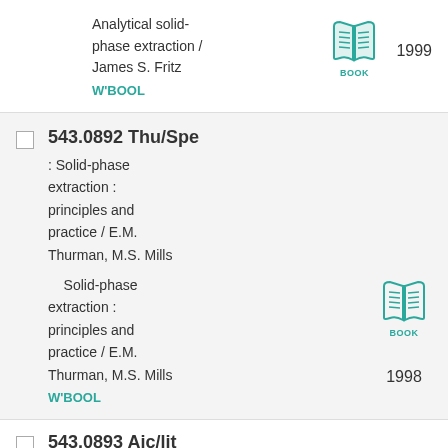Analytical solid-phase extraction / James S. Fritz W'BOOL 1999
543.0892 Thu/Spe : Solid-phase extraction : principles and practice / E.M. Thurman, M.S. Mills   Solid-phase extraction : principles and practice / E.M. Thurman, M.S. Mills W'BOOL 1998
543.0893 Aic/lit